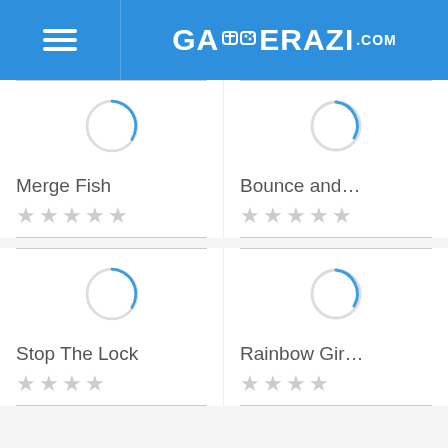[Figure (screenshot): Gamerazi.com website header with hamburger menu icon on the left and the Gamerazi.com logo in white text on a blue background]
[Figure (infographic): Loading spinner circle icon for Merge Fish game]
Merge Fish
[Figure (infographic): Loading spinner circle icon for Bounce and... game]
Bounce and...
[Figure (infographic): Loading spinner circle icon for Stop The Lock game]
Stop The Lock
[Figure (infographic): Loading spinner circle icon for Rainbow Gir... game]
Rainbow Gir...